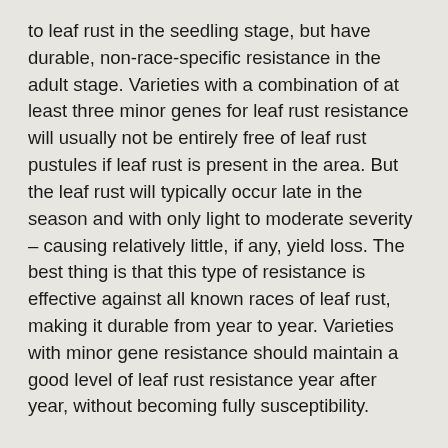to leaf rust in the seedling stage, but have durable, non-race-specific resistance in the adult stage. Varieties with a combination of at least three minor genes for leaf rust resistance will usually not be entirely free of leaf rust pustules if leaf rust is present in the area. But the leaf rust will typically occur late in the season and with only light to moderate severity – causing relatively little, if any, yield loss. The best thing is that this type of resistance is effective against all known races of leaf rust, making it durable from year to year. Varieties with minor gene resistance should maintain a good level of leaf rust resistance year after year, without becoming fully susceptibility.
None of the newest varieties released by K-State has this kind of leaf rust resistance yet, with the possible exception of KanMark. We expect to have lines with non-race-specific, durable leaf rust resistance in advanced stages of development, or possibly ready for release, within about five years or so.
At least some of the minor genes for leaf rust resistance are also effective against stripe rust. We initially thought...